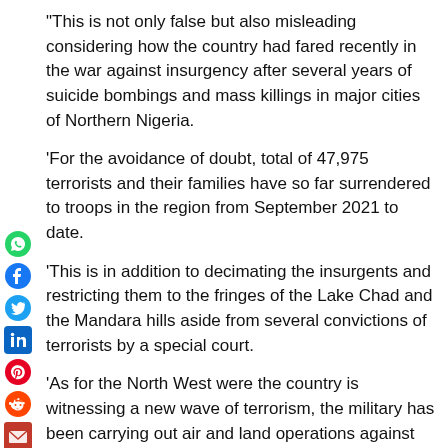“This is not only false but also misleading considering how the country had fared recently in the war against insurgency after several years of suicide bombings and mass killings in major cities of Northern Nigeria.
‘For the avoidance of doubt, total of 47,975 terrorists and their families have so far surrendered to troops in the region from September 2021 to date.
‘This is in addition to decimating the insurgents and restricting them to the fringes of the Lake Chad and the Mandara hills aside from several convictions of terrorists by a special court.
‘As for the North West were the country is witnessing a new wave of terrorism, the military has been carrying out air and land operations against bandits and other criminal elements even though more still have to be done,” the statement added.
BMO also countered claims by the Christian Association of Nigeria, CAN, that elections are not feasible next year as a result of security challenges.